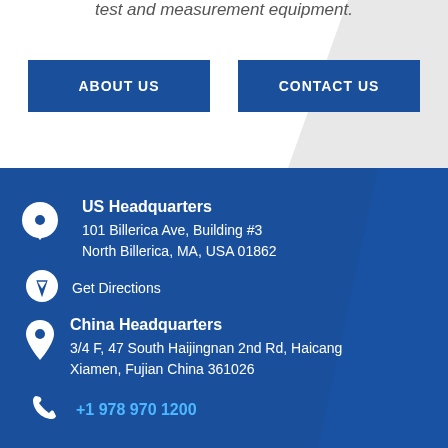test and measurement equipment.
ABOUT US
CONTACT US
US Headquarters
101 Billerica Ave, Building #3
North Billerica, MA, USA 01862
Get Directions
China Headquarters
3/4 F, 47 South Haijingnan 2nd Rd, Haicang
Xiamen, Fujian China 361026
+1 978 970 1200